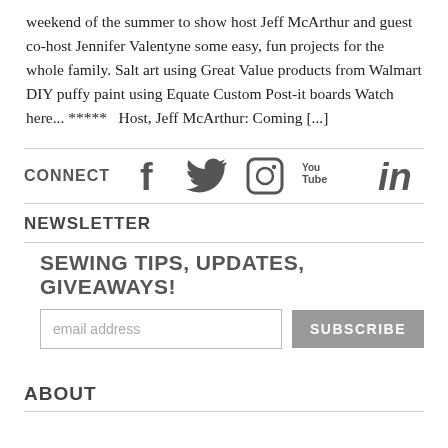weekend of the summer to show host Jeff McArthur and guest co-host Jennifer Valentyne some easy, fun projects for the whole family. Salt art using Great Value products from Walmart DIY puffy paint using Equate Custom Post-it boards Watch here... *****   Host, Jeff McArthur: Coming [...]
CONNECT
[Figure (infographic): Social media icons: Facebook, Twitter, Instagram, YouTube, LinkedIn]
NEWSLETTER
SEWING TIPS, UPDATES, GIVEAWAYS!
email address  SUBSCRIBE
ABOUT